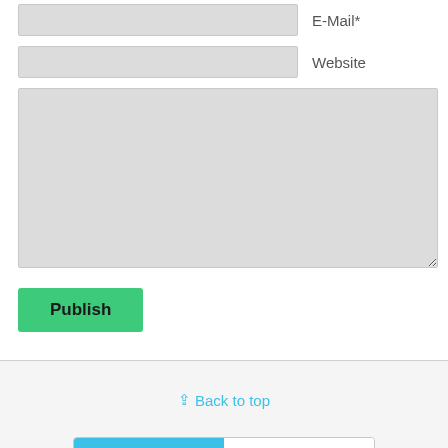[Figure (screenshot): Web form with E-Mail* field (text input box with label), Website field (text input box with label), a large textarea for comment/content input, and a green Publish button. Below a horizontal divider is a light gray footer area with a cyan Back to top link and a Mobile/Desktop toggle switcher bar.]